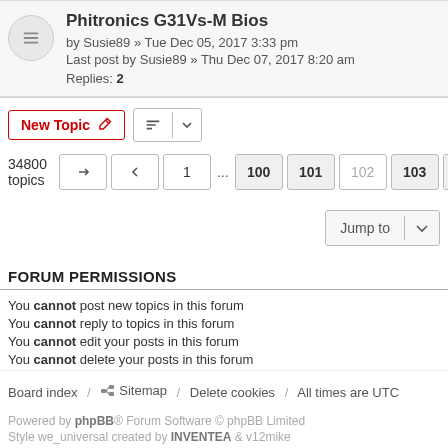Phitronics G31Vs-M Bios
by Susie89 » Tue Dec 05, 2017 3:33 pm
Last post by Susie89 » Thu Dec 07, 2017 8:20 am
Replies: 2
New Topic | Sort | 34800 topics | page navigation: 1 ... 100 101 102 103 104 ... 1392
Jump to
FORUM PERMISSIONS
You cannot post new topics in this forum
You cannot reply to topics in this forum
You cannot edit your posts in this forum
You cannot delete your posts in this forum
Board index / Sitemap / Delete cookies / All times are UTC
Powered by phpBB® Forum Software © phpBB Limited
Style we_universal created by INVENTEA & v12mike